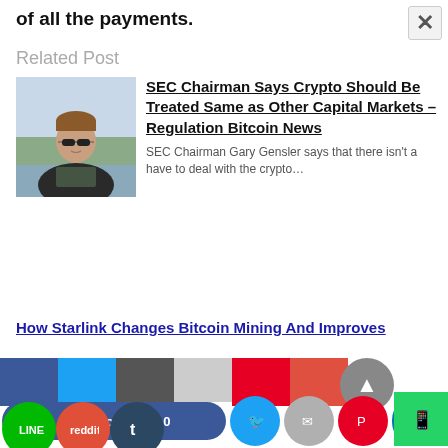of all the payments.
Related Post
[Figure (photo): Photo of a young man wearing sunglasses outdoors near water]
SEC Chairman Says Crypto Should Be Treated Same as Other Capital Markets – Regulation Bitcoin News
SEC Chairman Gary Gensler says that there isn't a have to deal with the crypto…
How Starlink Changes Bitcoin Mining And Improves
[Figure (infographic): Social media share buttons: Facebook Recommend 0, Twitter, Email, Pinterest, LinkedIn, LINE, Reddit, Tumblr, WhatsApp]